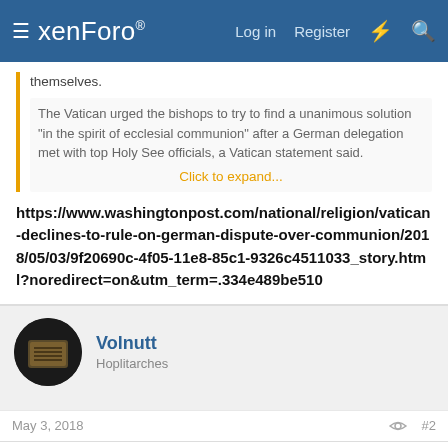xenForo — Log in  Register
themselves.
The Vatican urged the bishops to try to find a unanimous solution "in the spirit of ecclesial communion" after a German delegation met with top Holy See officials, a Vatican statement said.
Click to expand...
https://www.washingtonpost.com/national/religion/vatican-declines-to-rule-on-german-dispute-over-communion/2018/05/03/9f20690c-4f05-11e8-85c1-9326c4511033_story.html?noredirect=on&utm_term=.334e489be510
Volnutt
Hoplitarches
May 3, 2018  #2
Antonis said: